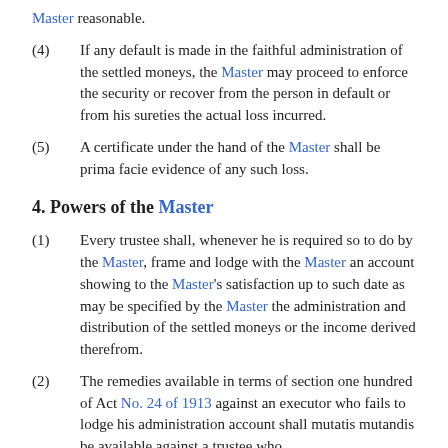Master reasonable.
(4) If any default is made in the faithful administration of the settled moneys, the Master may proceed to enforce the security or recover from the person in default or from his sureties the actual loss incurred.
(5) A certificate under the hand of the Master shall be prima facie evidence of any such loss.
4. Powers of the Master
(1) Every trustee shall, whenever he is required so to do by the Master, frame and lodge with the Master an account showing to the Master's satisfaction up to such date as may be specified by the Master the administration and distribution of the settled moneys or the income derived therefrom.
(2) The remedies available in terms of section one hundred of Act No. 24 of 1913 against an executor who fails to lodge his administration account shall mutatis mutandis be available against a trustee who